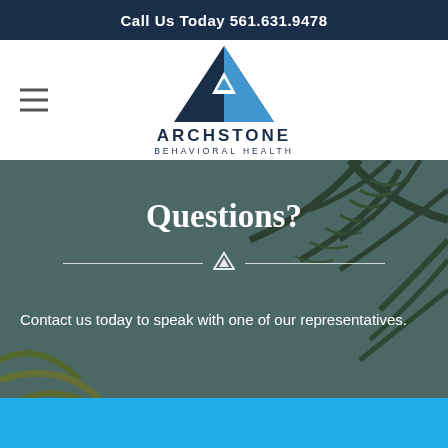Call Us Today 561.631.9478
[Figure (logo): Archstone Behavioral Health logo — triangle/arch shape in blue tones above text ARCHSTONE BEHAVIORAL HEALTH]
Questions?
Contact us today to speak with one of our representatives.